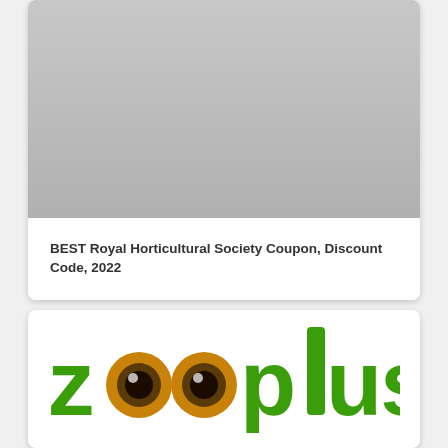[Figure (photo): Gray image placeholder area at the top of a card]
BEST Royal Horticultural Society Coupon, Discount Code, 2022
[Figure (logo): Zooplus logo with green stylized text and two animal eyes replacing the two o letters]